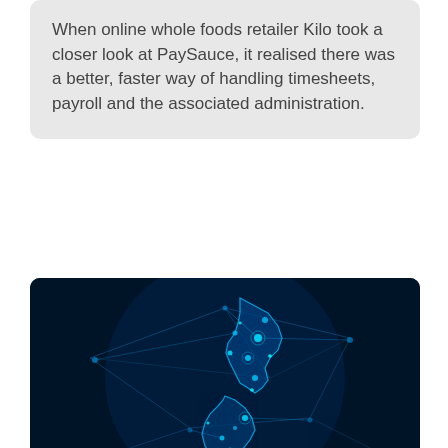When online whole foods retailer Kilo took a closer look at PaySauce, it realised there was a better, faster way of handling timesheets, payroll and the associated administration.
[Figure (photo): A dark blue digital map of New Zealand with glowing blue polygon network lines and nodes overlaid on the country shape, representing 5G connectivity.]
5G
Vodafone NZ to switch off 3G network by end of 2024